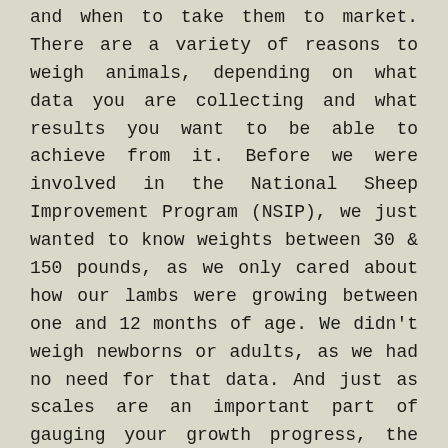and when to take them to market. There are a variety of reasons to weigh animals, depending on what data you are collecting and what results you want to be able to achieve from it. Before we were involved in the National Sheep Improvement Program (NSIP), we just wanted to know weights between 30 & 150 pounds, as we only cared about how our lambs were growing between one and 12 months of age. We didn't weigh newborns or adults, as we had no need for that data. And just as scales are an important part of gauging your growth progress, the proper handling equipment leading up to the scales is critical to make the whole process a success.
First, a producer should determine what they want to weigh. Obviously, the animals need weighed, and this may range from newborn lambs (3 – 15 pounds covers